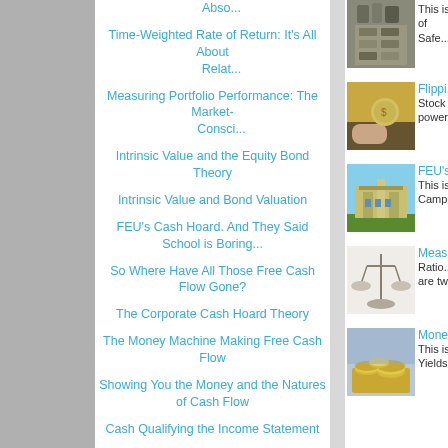Abso...
Time-Weighted Rate of Return: It's All About Relat...
Measuring Portfolio Performance: The Market-Consci...
Intrinsic Value and the Equity Bond Theory
Intrinsic Value and Bond Valuation
FEU's Cash Hoard. And They Said School is Boring...
So Where Have All Those Free Cash Flow Gone?
The Corporate Cash Hoard Theory
The Money Machine Making Free Cash Flow
Showing You the Money and the Natures of Cash Flow
Cash Qualifying the Income Statement
By Sheer Business Instinct,
[Figure (photo): Stone/brick structure photo]
This is of Safe...
[Figure (photo): Hand holding a coin/money photo]
Flippi... Stock power...
[Figure (photo): FEU campus building photo]
FEU's... This is Campu...
[Figure (photo): Balance/scales with hourglass photo]
Measu... Ratio... are tw...
[Figure (photo): Money/coins photo]
Money... This is Yields...